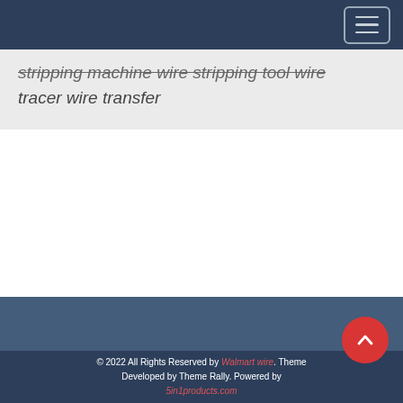stripping machine wire stripping tool wire tracer wire transfer
© 2022 All Rights Reserved by Walmart wire. Theme Developed by Theme Rally. Powered by 5in1products.com